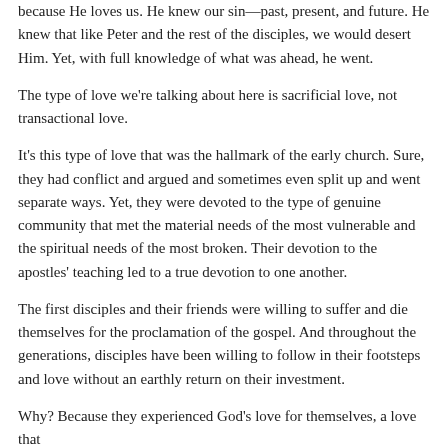because He loves us. He knew our sin—past, present, and future. He knew that like Peter and the rest of the disciples, we would desert Him. Yet, with full knowledge of what was ahead, he went.
The type of love we're talking about here is sacrificial love, not transactional love.
It's this type of love that was the hallmark of the early church. Sure, they had conflict and argued and sometimes even split up and went separate ways. Yet, they were devoted to the type of genuine community that met the material needs of the most vulnerable and the spiritual needs of the most broken. Their devotion to the apostles' teaching led to a true devotion to one another.
The first disciples and their friends were willing to suffer and die themselves for the proclamation of the gospel. And throughout the generations, disciples have been willing to follow in their footsteps and love without an earthly return on their investment.
Why? Because they experienced God's love for themselves, a love that